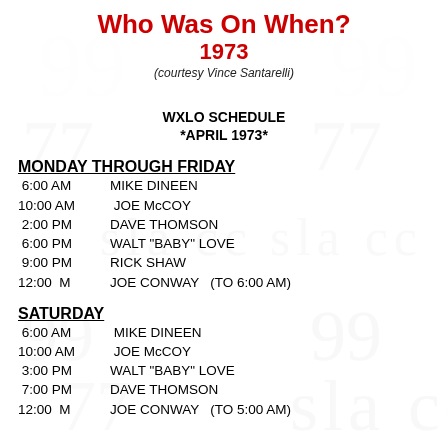Who Was On When?
1973
(courtesy Vince Santarelli)
WXLO SCHEDULE
*APRIL 1973*
MONDAY THROUGH FRIDAY
| Time | DJ |
| --- | --- |
| 6:00 AM | MIKE DINEEN |
| 10:00 AM | JOE McCOY |
| 2:00 PM | DAVE THOMSON |
| 6:00 PM | WALT "BABY" LOVE |
| 9:00 PM | RICK SHAW |
| 12:00  M | JOE CONWAY   (TO 6:00 AM) |
SATURDAY
| Time | DJ |
| --- | --- |
| 6:00 AM | MIKE DINEEN |
| 10:00 AM | JOE McCOY |
| 3:00 PM | WALT "BABY" LOVE |
| 7:00 PM | DAVE THOMSON |
| 12:00  M | JOE CONWAY   (TO 5:00 AM) |